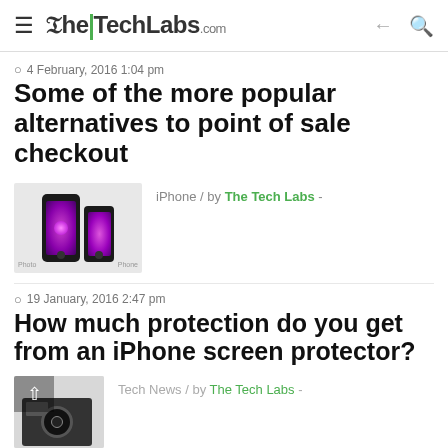TheTechLabs.com
4 February, 2016 1:04 pm
Some of the more popular alternatives to point of sale checkout
[Figure (photo): Thumbnail image of two iPhones showing purple screens]
iPhone / by The Tech Labs -
19 January, 2016 2:47 pm
How much protection do you get from an iPhone screen protector?
[Figure (photo): Thumbnail image of a GoPro-style action camera]
Tech News / by The Tech Labs -